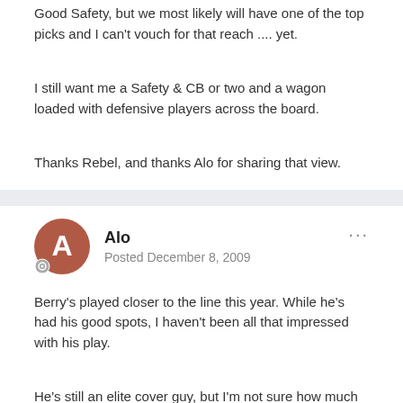Good Safety, but we most likely will have one of the top picks and I can't vouch for that reach .... yet.
I still want me a Safety & CB or two and a wagon loaded with defensive players across the board.
Thanks Rebel, and thanks Alo for sharing that view.
Alo
Posted December 8, 2009
Berry's played closer to the line this year. While he's had his good spots, I haven't been all that impressed with his play.
He's still an elite cover guy, but I'm not sure how much he'd add to our run defense. He'll pick off passes and, if necessary, can